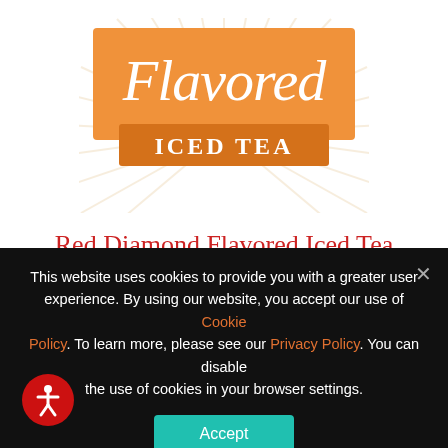[Figure (logo): Flavored Iced Tea logo with orange rectangle banner reading 'Flavored' in cursive white text, a darker orange bar reading 'ICED TEA' in serif capitals, surrounded by white sunburst rays on white background]
Red Diamond Flavored Iced Tea
With delicious flavors of fresh fruit, our Flavored Iced Teas are
This website uses cookies to provide you with a greater user experience. By using our website, you accept our use of Cookie Policy. To learn more, please see our Privacy Policy. You can disable the use of cookies in your browser settings.
Accept